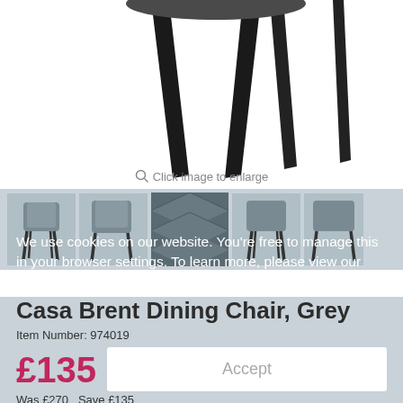[Figure (photo): Main product photo: a grey dining chair (Casa Brent) with black legs, shown from slightly elevated angle against white background. Only the lower half of the chair (legs and seat bottom) visible at top.]
Click image to enlarge
[Figure (photo): Thumbnail strip of five images of the Casa Brent Dining Chair, Grey, showing different angles: side view, 3/4 front, close-up of quilted upholstery, front view, rear 3/4 view. Background is light grey-blue.]
We use cookies on our website. You're free to manage this in your browser settings. To learn more, please view our cookie policy
Casa Brent Dining Chair, Grey
Item Number: 974019
£135
Accept
Was £270   Save £135